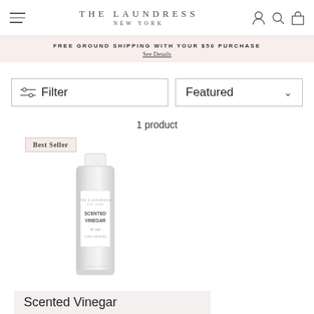THE LAUNDRESS NEW YORK
FREE GROUND SHIPPING WITH YOUR $50 PURCHASE
See Details
Filter
Featured
1 product
Best Seller
[Figure (photo): A bottle of The Laundress Scented Vinegar No. 247, silver/clear bottle with white cap and label]
Scented Vinegar